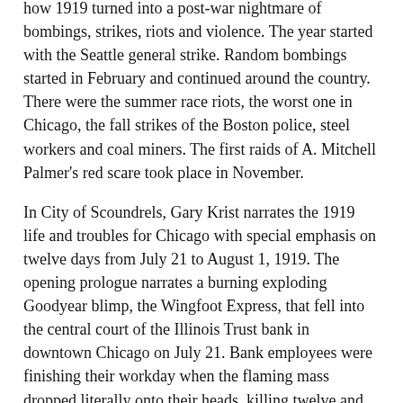how 1919 turned into a post-war nightmare of bombings, strikes, riots and violence. The year started with the Seattle general strike. Random bombings started in February and continued around the country. There were the summer race riots, the worst one in Chicago, the fall strikes of the Boston police, steel workers and coal miners. The first raids of A. Mitchell Palmer's red scare took place in November.
In City of Scoundrels, Gary Krist narrates the 1919 life and troubles for Chicago with special emphasis on twelve days from July 21 to August 1, 1919. The opening prologue narrates a burning exploding Goodyear blimp, the Wingfoot Express, that fell into the central court of the Illinois Trust bank in downtown Chicago on July 21. Bank employees were finishing their workday when the flaming mass dropped literally onto their heads, killing twelve and wounding many more.
Part I follows with eight chapters of background history and events of Chicago from January 1, 1919 until the July 21, 1919 crash of the blimp, which Krist assures readers was a miner mishap compared to what was coming. Chicago politics dominate these early chapters with a detailed